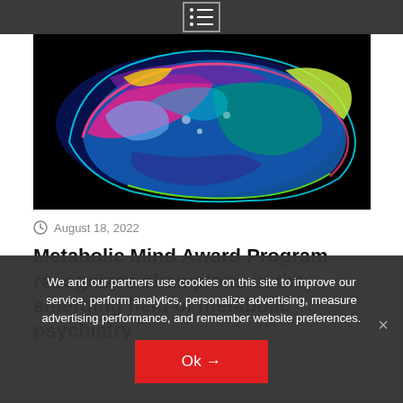[Figure (photo): Colorful brain scan image showing a cross-section of the brain with vivid colors including blue, pink, purple, green, yellow on a black background]
August 18, 2022
Metabolic Mind Award Program recognizes champions in the emerging field of metabolic psychiatry
We and our partners use cookies on this site to improve our service, perform analytics, personalize advertising, measure advertising performance, and remember website preferences.
Ok →